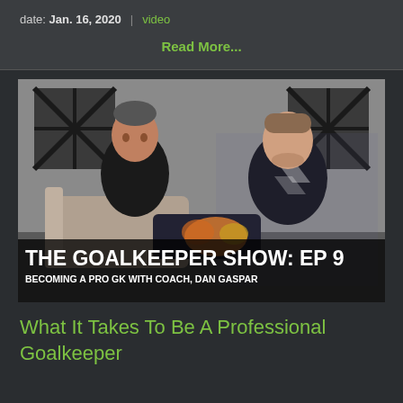date: Jan. 16, 2020  |  video
Read More...
[Figure (photo): Two men in athletic wear seated having a conversation in a room with decorative wall art. The man on the left is older wearing a black zip-up jacket, the man on the right is younger wearing a black Hummel jersey. There is a floral centerpiece on a table between them. Overlay text reads: THE GOALKEEPER SHOW: EP 9 / BECOMING A PRO GK WITH COACH, DAN GASPAR]
What It Takes To Be A Professional Goalkeeper